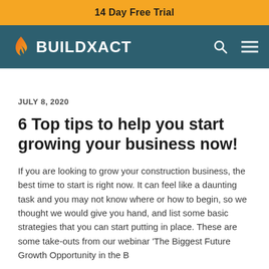14 Day Free Trial
[Figure (logo): Buildxact logo with flame icon on dark teal navigation bar with search and menu icons]
JULY 8, 2020
6 Top tips to help you start growing your business now!
If you are looking to grow your construction business, the best time to start is right now. It can feel like a daunting task and you may not know where or how to begin, so we thought we would give you hand, and list some basic strategies that you can start putting in place. These are some take-outs from our webinar 'The Biggest Future Growth Opportunity in the B